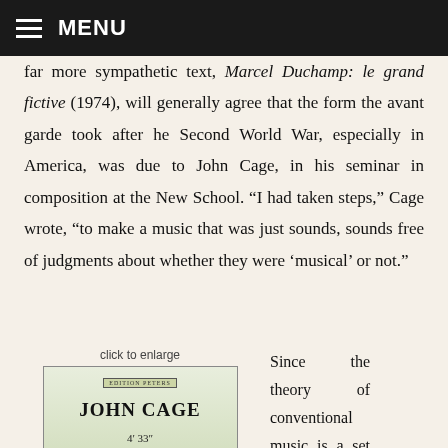MENU
far more sympathetic text, Marcel Duchamp: le grand fictive (1974), will generally agree that the form the avant garde took after he Second World War, especially in America, was due to John Cage, in his seminar in composition at the New School. "I had taken steps," Cage wrote, "to make a music that was just sounds, sounds free of judgments about whether they were ‘musical’ or not."
click to enlarge
[Figure (photo): Score cover of John Cage's 4' 33" published by Edition Peters]
Since the theory of conventional music is a set of